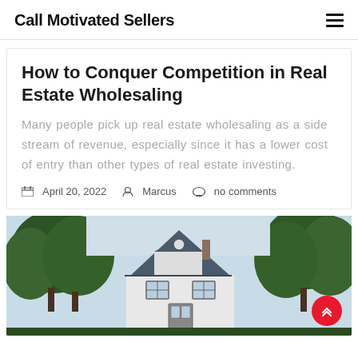Call Motivated Sellers
How to Conquer Competition in Real Estate Wholesaling
Many people pick up real estate wholesaling as a side stream of revenue, especially since it has a lower cost of entry than other types of real estate investing.
April 20, 2022  Marcus  no comments
[Figure (photo): Exterior photo of a white Victorian-style house with a peaked roof, surrounded by large green trees, photographed in summer.]